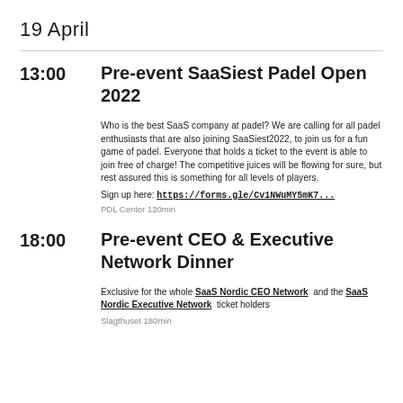19 April
13:00  Pre-event SaaSiest Padel Open 2022
Who is the best SaaS company at padel? We are calling for all padel enthusiasts that are also joining SaaSiest2022, to join us for a fun game of padel. Everyone that holds a ticket to the event is able to join free of charge! The competitive juices will be flowing for sure, but rest assured this is something for all levels of players.
Sign up here: https://forms.gle/Cv1NWuMY5mK7...
PDL Center 120min
18:00  Pre-event CEO & Executive Network Dinner
Exclusive for the whole SaaS Nordic CEO Network and the SaaS Nordic Executive Network ticket holders
Slagthuset 180min